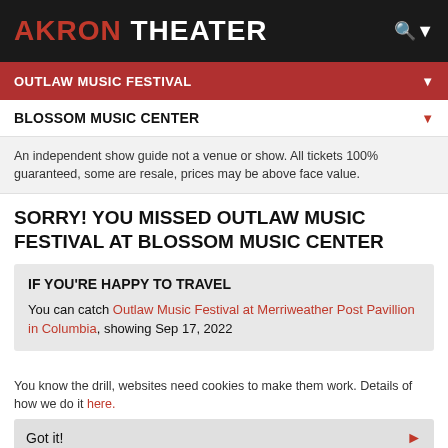AKRON THEATER
OUTLAW MUSIC FESTIVAL
BLOSSOM MUSIC CENTER
An independent show guide not a venue or show. All tickets 100% guaranteed, some are resale, prices may be above face value.
SORRY! YOU MISSED OUTLAW MUSIC FESTIVAL AT BLOSSOM MUSIC CENTER
IF YOU'RE HAPPY TO TRAVEL
You can catch Outlaw Music Festival at Merriweather Post Pavillion in Columbia, showing Sep 17, 2022
You know the drill, websites need cookies to make them work. Details of how we do it here.
Got it!